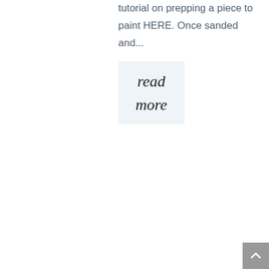tutorial on prepping a piece to paint HERE. Once sanded and...
[Figure (other): A light blue rectangular button with cursive text reading 'read more' on two lines]
[Figure (other): A gray square back-to-top button with a white upward-pointing chevron arrow in the bottom-right corner]